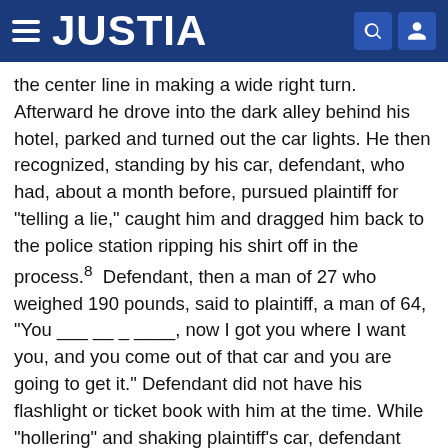JUSTIA
the center line in making a wide right turn. Afterward he drove into the dark alley behind his hotel, parked and turned out the car lights. He then recognized, standing by his car, defendant, who had, about a month before, pursued plaintiff for "telling a lie," caught him and dragged him back to the police station ripping his shirt off in the process.8  Defendant, then a man of 27 who weighed 190 pounds, said to plaintiff, a man of 64, "You ___ __ _ ____, now I got you where I want you, and you come out of that car and you are going to get it." Defendant did not have his flashlight or ticket book with him at the time. While "hollering" and shaking plaintiff's car, defendant tried to open the locked doors. When defendant went to the right side, plaintiff got out the left, ran down the alley and was injured. Defendant later told a fellow officer that he "* * * must have scared hell out of him because he started to run from me."